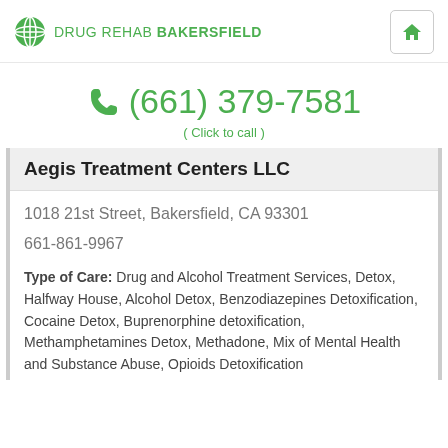DRUG REHAB BAKERSFIELD
(661) 379-7581 ( Click to call )
Aegis Treatment Centers LLC
1018 21st Street, Bakersfield, CA 93301
661-861-9967
Type of Care: Drug and Alcohol Treatment Services, Detox, Halfway House, Alcohol Detox, Benzodiazepines Detoxification, Cocaine Detox, Buprenorphine detoxification, Methamphetamines Detox, Methadone, Mix of Mental Health and Substance Abuse, Opioids Detoxification